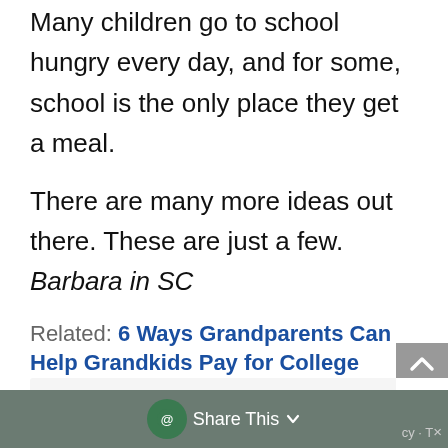Many children go to school hungry every day, and for some, school is the only place they get a meal.
There are many more ideas out there. These are just a few.
Barbara in SC
Related: 6 Ways Grandparents Can Help Grandkids Pay for College
Share This